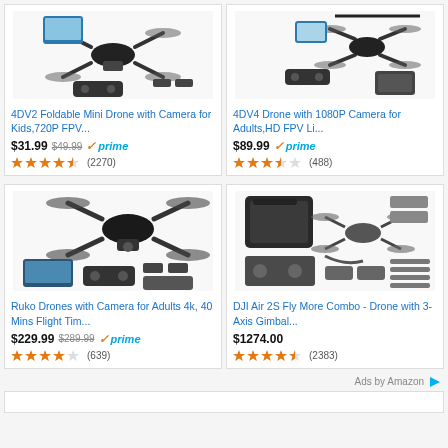[Figure (photo): 4DV2 Foldable Mini Drone product photo with controller and accessories]
4DV2 Foldable Mini Drone with Camera for Kids,720P FPV...
$31.99 $49.99 prime (2270 reviews, ~3.5 stars)
[Figure (photo): 4DV4 Drone with 1080P Camera product photo with controller and case]
4DV4 Drone with 1080P Camera for Adults,HD FPV Li...
$89.99 prime (488 reviews, ~3.5 stars)
[Figure (photo): Ruko Drone with camera, controller, case and batteries]
Ruko Drones with Camera for Adults 4k, 40 Mins Flight Tim...
$229.99 $289.99 prime (639 reviews, ~4 stars)
[Figure (photo): DJI Air 2S Fly More Combo product photo with accessories]
DJI Air 2S Fly More Combo - Drone with 3-Axis Gimbal...
$1274.00 (2383 reviews, ~4.5 stars)
Ads by Amazon